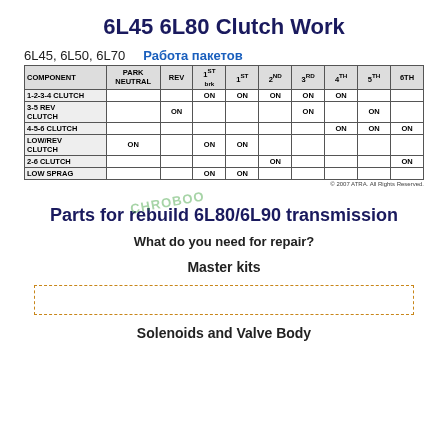6L45 6L80 Clutch Work
6L45, 6L50, 6L70   Работа пакетов
| COMPONENT | PARK NEUTRAL | REV | 1ST brk | 1ST | 2ND | 3RD | 4TH | 5TH | 6TH |
| --- | --- | --- | --- | --- | --- | --- | --- | --- | --- |
| 1-2-3-4 CLUTCH |  |  | ON | ON | ON | ON | ON |  |  |
| 3-5 REV CLUTCH |  | ON |  |  |  | ON |  | ON |  |
| 4-5-6 CLUTCH |  |  |  |  |  |  | ON | ON | ON |
| LOW/REV CLUTCH | ON |  | ON | ON |  |  |  |  |  |
| 2-6 CLUTCH |  |  |  |  | ON |  |  |  | ON |
| LOW SPRAG |  |  | ON | ON |  |  |  |  |  |
© 2007 ATRA. All Rights Reserved.
Parts for rebuild 6L80/6L90 transmission
What do you need for repair?
Master kits
[Figure (other): Orange dashed outline box (placeholder)]
Solenoids and Valve Body